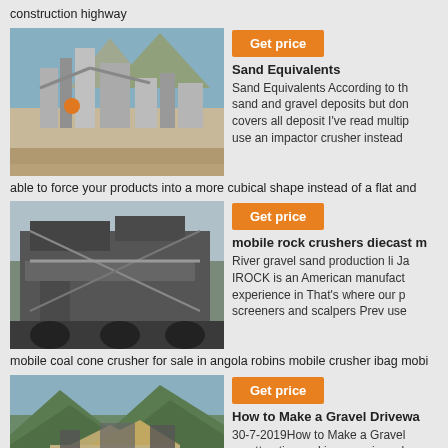construction highway
[Figure (photo): Industrial construction or mining plant with large machinery, silos and conveyor belts against a mountain backdrop]
Get price
Sand Equivalents
Sand Equivalents According to th sand and gravel deposits but don covers all deposit I've read multip use an impactor crusher instead
able to force your products into a more cubical shape instead of a flat and
[Figure (photo): Large industrial rock crushing or excavating machine, heavy machinery structure]
Get price
mobile rock crushers diecast m
River gravel sand production li Ja IROCK is an American manufact experience in That's where our p screeners and scalpers Prev use
mobile coal cone crusher for sale in angola robins mobile crusher ibag mobi
[Figure (photo): Aerial view of a gravel pit or quarry mining operation surrounded by green hills]
Get price
How to Make a Gravel Drivewa
30-7-2019How to Make a Gravel an attractive and inexpensive ad driveways last longer than p